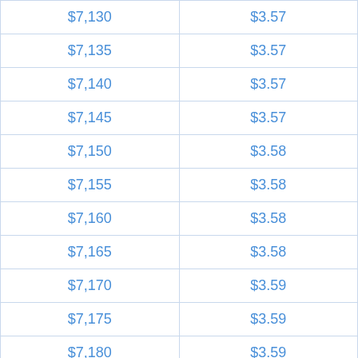| $7,130 | $3.57 |
| $7,135 | $3.57 |
| $7,140 | $3.57 |
| $7,145 | $3.57 |
| $7,150 | $3.58 |
| $7,155 | $3.58 |
| $7,160 | $3.58 |
| $7,165 | $3.58 |
| $7,170 | $3.59 |
| $7,175 | $3.59 |
| $7,180 | $3.59 |
| $7,185 | $3.59 |
| $7,190 | $3.60 |